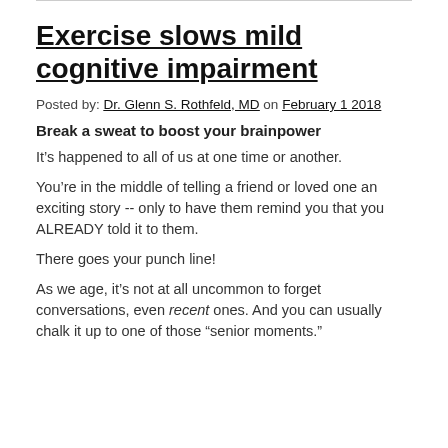Exercise slows mild cognitive impairment
Posted by: Dr. Glenn S. Rothfeld, MD on February 1 2018
Break a sweat to boost your brainpower
It’s happened to all of us at one time or another.
You’re in the middle of telling a friend or loved one an exciting story -- only to have them remind you that you ALREADY told it to them.
There goes your punch line!
As we age, it’s not at all uncommon to forget conversations, even recent ones. And you can usually chalk it up to one of those "senior moments."